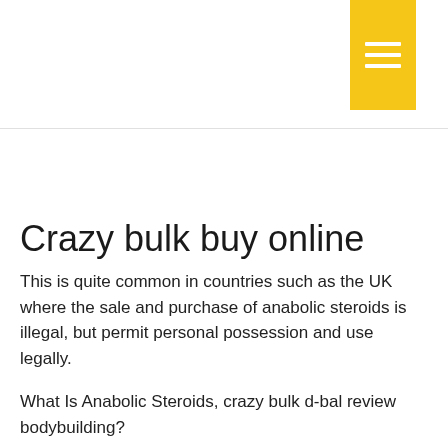[Figure (other): Yellow hamburger menu button with three white horizontal lines on a yellow background, positioned in the top right area of the page header]
Crazy bulk buy online
This is quite common in countries such as the UK where the sale and purchase of anabolic steroids is illegal, but permit personal possession and use legally.
What Is Anabolic Steroids, crazy bulk d-bal review bodybuilding?
Anabolic steroids are synthetic hormones